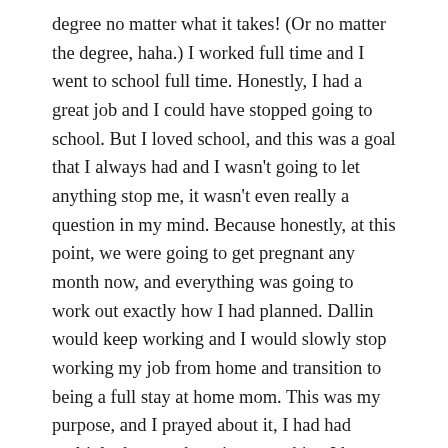degree no matter what it takes! (Or no matter the degree, haha.) I worked full time and I went to school full time. Honestly, I had a great job and I could have stopped going to school. But I loved school, and this was a goal that I always had and I wasn't going to let anything stop me, it wasn't even really a question in my mind. Because honestly, at this point, we were going to get pregnant any month now, and everything was going to work out exactly how I had planned. Dallin would keep working and I would slowly stop working my job from home and transition to being a full stay at home mom. This was my purpose, and I prayed about it, I had had multiple dreams about it, every thing I knew meant this was going to be my path.
And honestly, this has been the hardest part of not having children yet. It's dealing with this inconsistency in my mind – that I'm not fulfilling my life's purpose – to be a